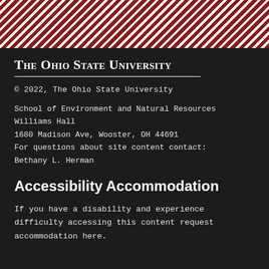[Figure (illustration): Diagonal red and white stripe bar across the top of the page]
The Ohio State University
© 2022, The Ohio State University
School of Environment and Natural Resources
Williams Hall
1680 Madison Ave, Wooster, OH 44691
For questions about site content contact:
Bethany L. Herman
Accessibility Accommodation
If you have a disability and experience difficulty accessing this content request accommodation here.